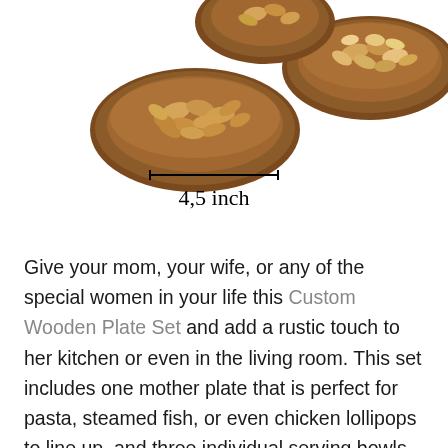[Figure (photo): Photograph of small wooden bowls filled with nuts (almonds, cashews, mixed nuts), with a measurement line and label '4,5 inch' indicating the size of the bowls against a white background.]
Give your mom, your wife, or any of the special women in your life this Custom Wooden Plate Set and add a rustic touch to her kitchen or even in the living room. This set includes one mother plate that is perfect for pasta, steamed fish, or even chicken lollipops to line up, and three individual serving bowls that are great for snacks or even tiny non-edible things to be displayed in the living room. Each of